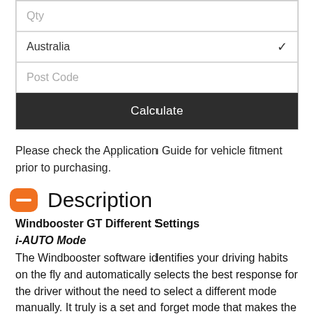[Figure (screenshot): Form with Qty input, Australia dropdown, Post Code input, and Calculate button]
Please check the Application Guide for vehicle fitment prior to purchasing.
Description
Windbooster GT Different Settings
i-AUTO Mode
The Windbooster software identifies your driving habits on the fly and automatically selects the best response for the driver without the need to select a different mode manually. It truly is a set and forget mode that makes the decisions for you.